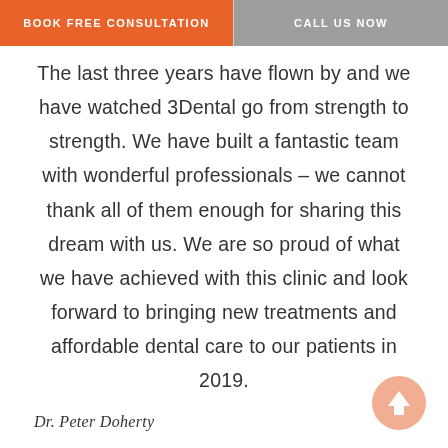BOOK FREE CONSULTATION   CALL US NOW
The last three years have flown by and we have watched 3Dental go from strength to strength. We have built a fantastic team with wonderful professionals – we cannot thank all of them enough for sharing this dream with us. We are so proud of what we have achieved with this clinic and look forward to bringing new treatments and affordable dental care to our patients in 2019.
Dr. Peter Doherty